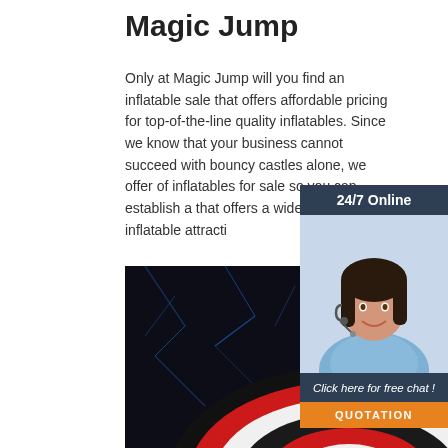Magic Jump
Only at Magic Jump will you find an inflatable sale that offers affordable pricing for top-of-the-line quality inflatables. Since we know that your business cannot succeed with bouncy castles alone, we offer of inflatables for sale so you can establish a that offers a wide variety of inflatable attracti
[Figure (photo): Customer service representative woman with headset, with '24/7 Online' header, 'Click here for free chat!' text, and 'QUOTATION' button in orange]
Get Price
[Figure (photo): Black inflatable with lightning bolt pattern and red/white bullseye target design]
TOP